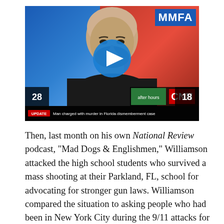[Figure (screenshot): A CNN television screenshot showing a bald man with a beard wearing a black shirt, with a blue background on the left and red background on the right. An MMFA watermark appears in the top right corner. A blue play button circle is overlaid in the center. The bottom shows a CNN chyron reading 'UPDATE Man charged with murder in Florida dismemberment case'. Appears to be a video thumbnail.]
Then, last month on his own National Review podcast, "Mad Dogs & Englishmen," Williamson attacked the high school students who survived a mass shooting at their Parkland, FL, school for advocating for stronger gun laws. Williamson compared the situation to asking people who had been in New York City during the 9/11 attacks for